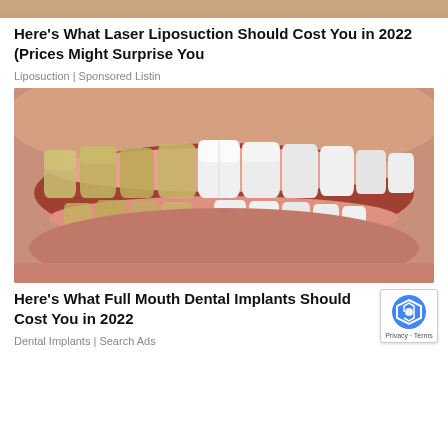[Figure (photo): Top portion of a skin/body photo, cropped at top of page]
Here's What Laser Liposuction Should Cost You in 2022 (Prices Might Surprise You
Liposuction | Sponsored Listin
[Figure (photo): Close-up photo of a mouth showing a before-and-after dental implant comparison: left side shows yellowed/uneven teeth, right side shows bright white even teeth/implants]
Here's What Full Mouth Dental Implants Should Cost You in 2022
Dental Implants | Search Ads